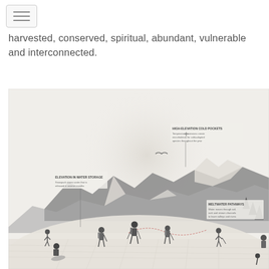[hamburger menu icon]
harvested, conserved, spiritual, abundant, vulnerable and interconnected.
[Figure (illustration): A large illustrated/collage-style infographic showing a mountain landscape scene. Several hikers are visible in the foreground walking through snow. The background features snow-capped mountain peaks, a large circular gradient shape (like a sun or moon), and a bird in flight. Text annotations with small labels appear on the image pointing to various parts of the landscape. The overall aesthetic is a hand-drawn/photographic collage in muted black, white, and grey tones.]